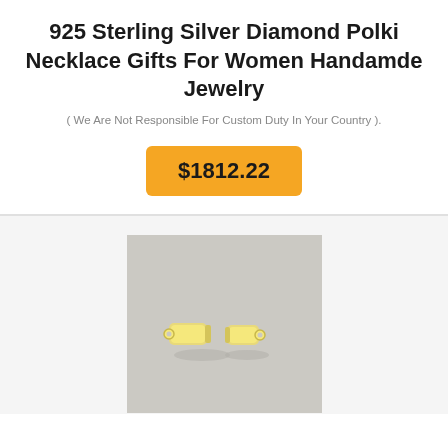925 Sterling Silver Diamond Polki Necklace Gifts For Women Handamde Jewelry
( We Are Not Responsible For Custom Duty In Your Country ).
$1812.22
[Figure (photo): Two small gold-colored metal spring ring clasp connectors / barrel crimp end caps photographed on a light grey background.]